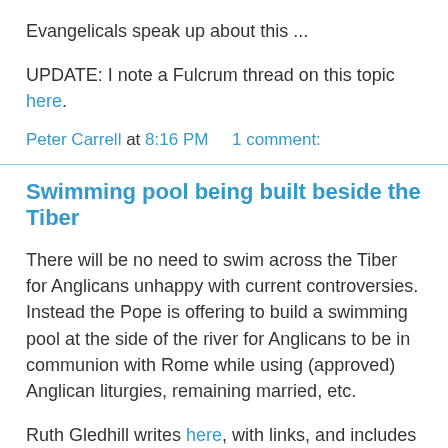Evangelicals speak up about this ...
UPDATE: I note a Fulcrum thread on this topic here.
Peter Carrell at 8:16 PM    1 comment:
Swimming pool being built beside the Tiber
There will be no need to swim across the Tiber for Anglicans unhappy with current controversies. Instead the Pope is offering to build a swimming pool at the side of the river for Anglicans to be in communion with Rome while using (approved) Anglican liturgies, remaining married, etc.
Ruth Gledhill writes here, with links, and includes ++Rowan's hasty response, having been caught in the headlights of Benedict's speeding Mercedes.
We had better see what Damien Thompson's overflowing joy looks like here (so overflowing he has multi-posts on the